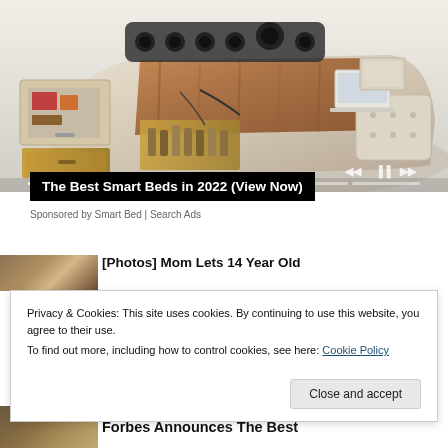[Figure (photo): Advertisement image of a smart bed with multiple features including storage drawers, massage speakers, and built-in laptop stand, shown in cream/beige color with media player controls and progress bar overlay at bottom]
The Best Smart Beds in 2022 (View Now)
Sponsored by Smart Bed | Search Ads
[Figure (photo): Partially visible thumbnail image for article about Mom Lets 14 Year Old]
[Photos] Mom Lets 14 Year Old (truncated)
Privacy & Cookies: This site uses cookies. By continuing to use this website, you agree to their use.
To find out more, including how to control cookies, see here: Cookie Policy
Close and accept
[Figure (photo): Partially visible thumbnail for Forbes article]
Forbes Announces The Best (truncated)